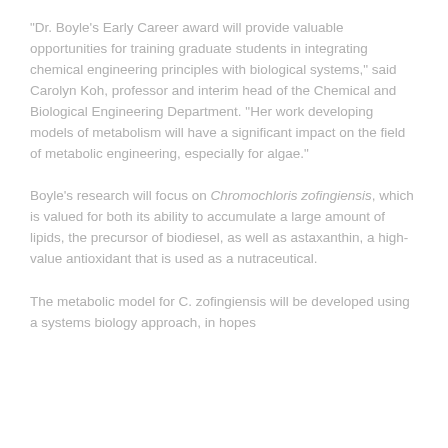“Dr. Boyle’s Early Career award will provide valuable opportunities for training graduate students in integrating chemical engineering principles with biological systems,” said Carolyn Koh, professor and interim head of the Chemical and Biological Engineering Department. “Her work developing models of metabolism will have a significant impact on the field of metabolic engineering, especially for algae.”
Boyle’s research will focus on Chromochloris zofingiensis, which is valued for both its ability to accumulate a large amount of lipids, the precursor of biodiesel, as well as astaxanthin, a high-value antioxidant that is used as a nutraceutical.
The metabolic model for C. zofingiensis will be developed using a systems biology approach, in hopes